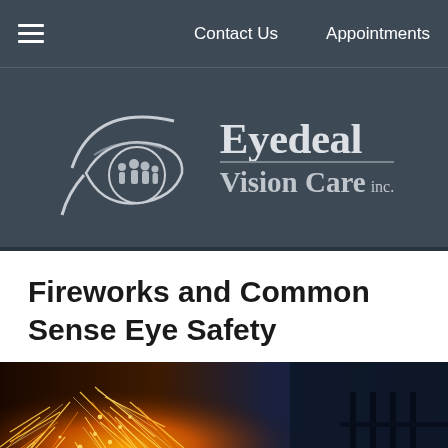Contact Us   Appointments
[Figure (logo): Eyedeal Vision Care Inc. logo — stylized eye with family silhouette inside, white on dark slate background]
Fireworks and Common Sense Eye Safety
[Figure (photo): Fireworks sparks photo — bright golden-orange sparks flying on left, dark blue background with fence/railing silhouette on right]